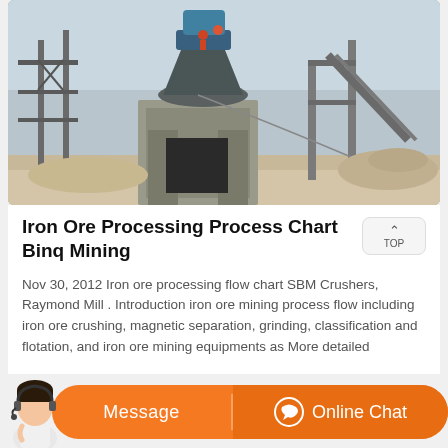[Figure (photo): Industrial mining equipment / cone crusher at an outdoor mining site, concrete structures, scaffolding, machinery, bright sky]
Iron Ore Processing Process Chart Binq Mining
Nov 30, 2012 Iron ore processing flow chart SBM Crushers, Raymond Mill . Introduction iron ore mining process flow including iron ore crushing, magnetic separation, grinding, classification and flotation, and iron ore mining equipments as More detailed
[Figure (photo): Customer service representative with headset - chat/message button bar with orange background, Message and Online Chat buttons]